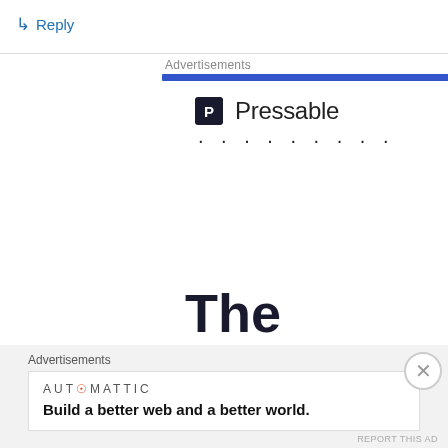↳ Reply
Advertisements
[Figure (logo): Pressable logo with blue progress bar and dots]
The Platform Where WordPress
Advertisements
[Figure (logo): Automattic logo with tagline: Build a better web and a better world.]